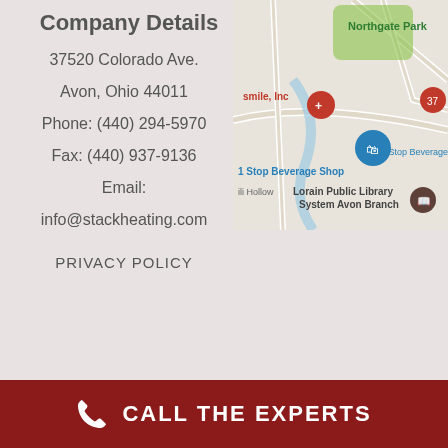Company Details
37520 Colorado Ave.
Avon, Ohio 44011
Phone: (440) 294-5970
Fax: (440) 937-9136
Email:
info@stackheating.com
PRIVACY POLICY
[Figure (map): Google Maps screenshot showing location near Northgate Park, Avon Ohio. Shows markers for smile Inc, 1 Stop Beverage Shop, Lorain Public Library System Avon Branch.]
CALL THE EXPERTS